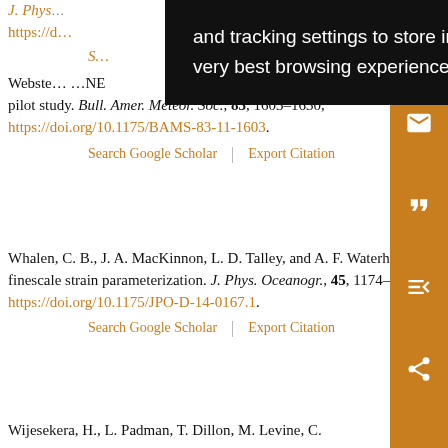Webster... pilot study. Bull. Amer. Meteor. Soc., 83, 1603–1630, https://doi.org/10.1175/BAMS-83-11-1603.
Search Google Scholar | Export Citation
Whalen, C. B., J. A. MacKinnon, L. D. Talley, and A. F. Waterhouse, 2015: Estimating the mean diapycnal mixing using a finescale strain parameterization. J. Phys. Oceanogr., 45, 1174–1188, https://doi.org/10.1175/JPO-D-14-0167.1.
Search Google Scholar | Export Citation
Wijesekera, H., L. Padman, T. Dillon, M. Levine, C....